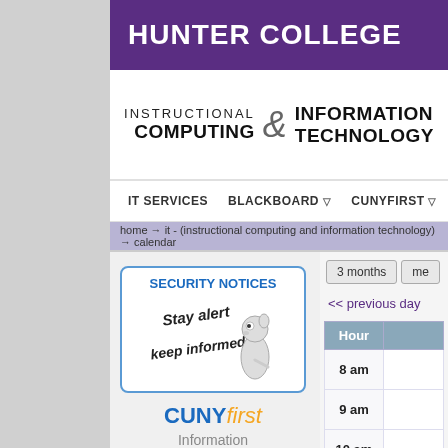HUNTER COLLEGE
[Figure (logo): Hunter College Instructional Computing & Information Technology logo with text]
IT SERVICES  BLACKBOARD  CUNYFIRST  GET HELP  N
home → it - (instructional computing and information technology) → calendar
[Figure (illustration): Security Notices box with meerkat illustration and text 'Stay alert keep informed']
[Figure (logo): CUNYfirst logo with text 'Information and Support']
| Hour |  |
| --- | --- |
| 8 am |  |
| 9 am |  |
| 10 am |  |